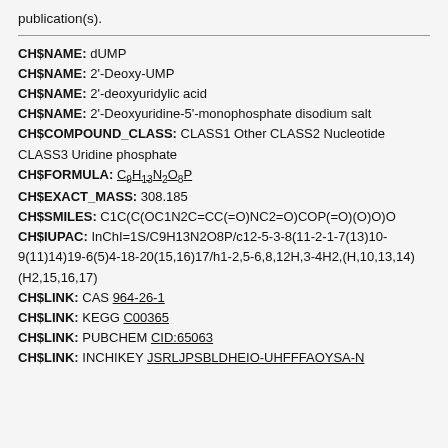publication(s).
CH$NAME: dUMP
CH$NAME: 2'-Deoxy-UMP
CH$NAME: 2'-deoxyuridylic acid
CH$NAME: 2'-Deoxyuridine-5'-monophosphate disodium salt
CH$COMPOUND_CLASS: CLASS1 Other CLASS2 Nucleotide CLASS3 Uridine phosphate
CH$FORMULA: C9H13N2O8P
CH$EXACT_MASS: 308.185
CH$SMILES: C1C(C(OC1N2C=CC(=O)NC2=O)COP(=O)(O)O)O
CH$IUPAC: InChI=1S/C9H13N2O8P/c12-5-3-8(11-2-1-7(13)10-9(11)14)19-6(5)4-18-20(15,16)17/h1-2,5-6,8,12H,3-4H2,(H,10,13,14)(H2,15,16,17)
CH$LINK: CAS 964-26-1
CH$LINK: KEGG C00365
CH$LINK: PUBCHEM CID:65063
CH$LINK: INCHIKEY JSRLJPSBLDHEIO-UHFFFAOYSA-N